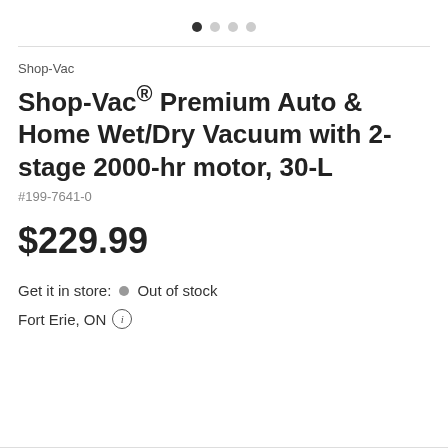[Figure (other): Carousel navigation dots — one filled dark, three light grey]
Shop-Vac
Shop-Vac® Premium Auto & Home Wet/Dry Vacuum with 2-stage 2000-hr motor, 30-L
#199-7641-0
$229.99
Get it in store:  •  Out of stock
Fort Erie, ON ⓘ